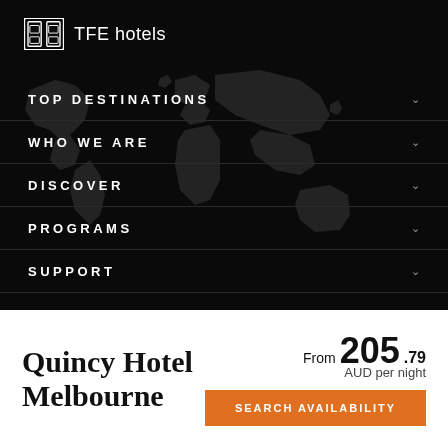[Figure (logo): TFE Hotels logo with stylized square icon and text 'TFE hotels' in white on black background]
TOP DESTINATIONS
WHO WE ARE
DISCOVER
PROGRAMS
SUPPORT
EXPLORE OUR BRANDS
Quincy Hotel Melbourne
From 205.79 AUD per night
SEARCH AVAILABILITY